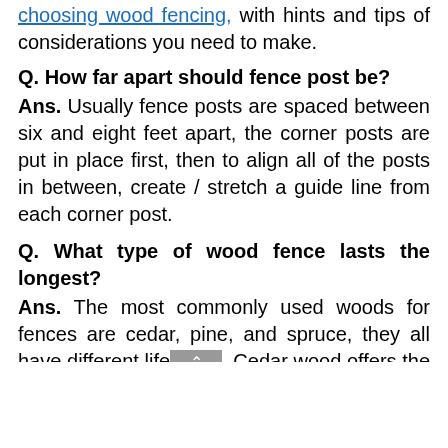choosing wood fencing, with hints and tips of considerations you need to make.
Q. How far apart should fence post be?
Ans. Usually fence posts are spaced between six and eight feet apart, the corner posts are put in place first, then to align all of the posts in between, create / stretch a guide line from each corner post.
Q. What type of wood fence lasts the longest?
Ans. The most commonly used woods for fences are cedar, pine, and spruce, they all have different lifespans. Cedar wood offers the longest lifespan which typically lasts anywhere from 15 to 30 years.